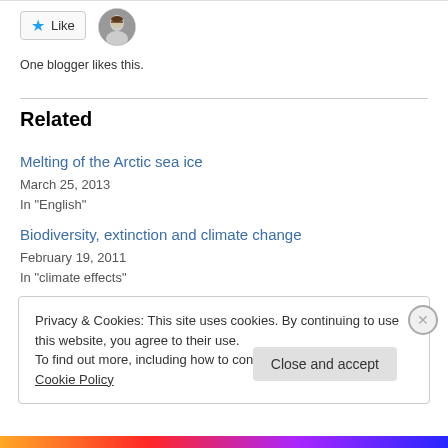Like  One blogger likes this.
Related
Melting of the Arctic sea ice
March 25, 2013
In "English"
Biodiversity, extinction and climate change
February 19, 2011
In "climate effects"
Privacy & Cookies: This site uses cookies. By continuing to use this website, you agree to their use.
To find out more, including how to control cookies, see here: Cookie Policy
Close and accept